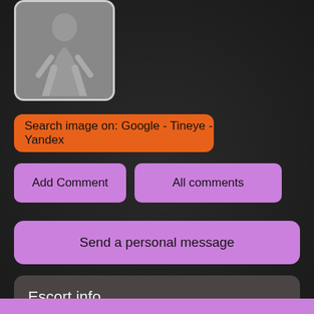[Figure (photo): Profile silhouette image of a female figure on grey background]
Search image on: Google - Tineye - Yandex
Add Comment
All comments
Send a personal message
Escort info
Escort girls ,
Last online 169 days ago